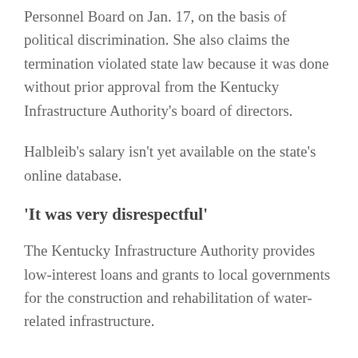Personnel Board on Jan. 17, on the basis of political discrimination. She also claims the termination violated state law because it was done without prior approval from the Kentucky Infrastructure Authority's board of directors.
Halbleib's salary isn't yet available on the state's online database.
'It was very disrespectful'
The Kentucky Infrastructure Authority provides low-interest loans and grants to local governments for the construction and rehabilitation of water-related infrastructure.